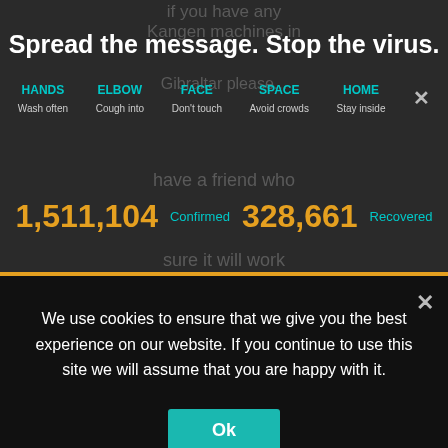Spread the message. Stop the virus.
HANDS Wash often | ELBOW Cough into | FACE Don't touch | SPACE Avoid crowds | HOME Stay inside
1,511,104 Confirmed   328,661 Recovered
We use cookies to ensure that we give you the best experience on our website. If you continue to use this site we will assume that you are happy with it.
Ok
adminrog
October 30, 2017 at 11:51 am | Permalink